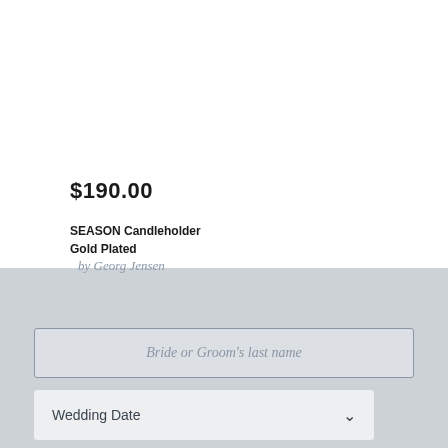$190.00
SEASON Candleholder
Gold Plated
by Georg Jensen
Bride or Groom's last name
Wedding Date